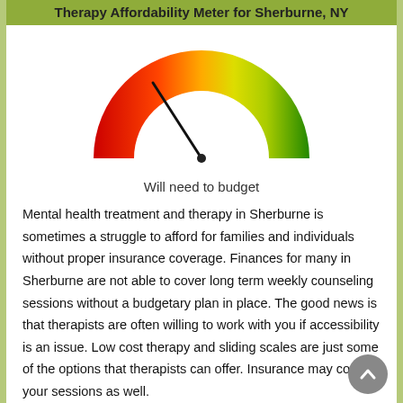Therapy Affordability Meter for Sherburne, NY
[Figure (other): Semicircular gauge/meter showing affordability level from red (left) to green (right), with needle pointing to orange-yellow area indicating 'Will need to budget']
Will need to budget
Mental health treatment and therapy in Sherburne is sometimes a struggle to afford for families and individuals without proper insurance coverage. Finances for many in Sherburne are not able to cover long term weekly counseling sessions without a budgetary plan in place. The good news is that therapists are often willing to work with you if accessibility is an issue. Low cost therapy and sliding scales are just some of the options that therapists can offer. Insurance may cover your sessions as well.